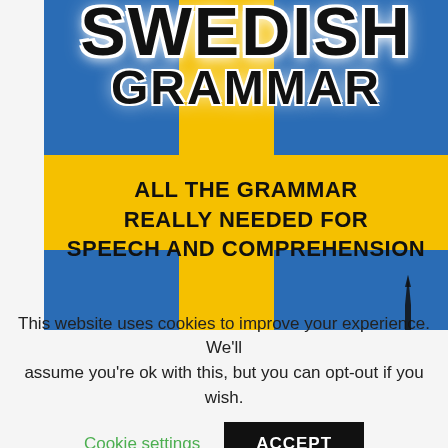[Figure (photo): Book cover for 'Swedish Grammar' featuring the Swedish flag (blue background with yellow cross). Title reads 'SWEDISH GRAMMAR' at the top, with subtitle 'ALL THE GRAMMAR REALLY NEEDED FOR SPEECH AND COMPREHENSION' in the center. A church spire silhouette is visible at the bottom right.]
This website uses cookies to improve your experience. We'll assume you're ok with this, but you can opt-out if you wish.
Cookie settings   ACCEPT